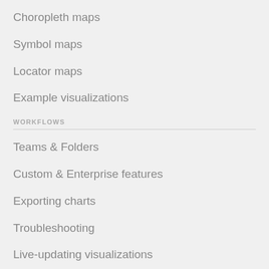Choropleth maps
Symbol maps
Locator maps
Example visualizations
WORKFLOWS
Teams & Folders
Custom & Enterprise features
Exporting charts
Troubleshooting
Live-updating visualizations
Datawrapper Pro Tips  ›
WORKING WITH DATA